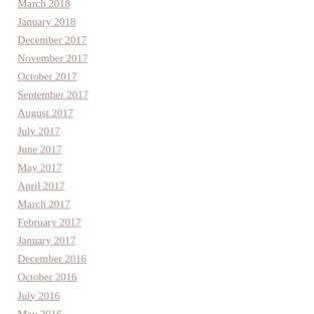March 2018
January 2018
December 2017
November 2017
October 2017
September 2017
August 2017
July 2017
June 2017
May 2017
April 2017
March 2017
February 2017
January 2017
December 2016
October 2016
July 2016
May 2016
March 2016